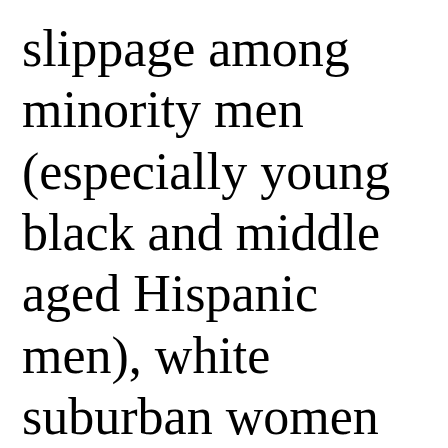slippage among minority men (especially young black and middle aged Hispanic men), white suburban women (particularly